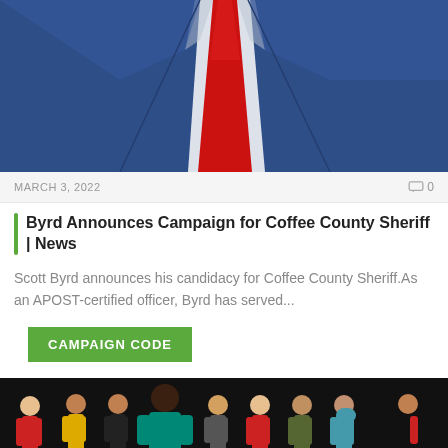[Figure (photo): Close-up photo of a person wearing a blue suit jacket with a white shirt and red tie, visible from the chest up without the face shown.]
MARCH 3, 2022
0
Byrd Announces Campaign for Coffee County Sheriff | News
Scott Byrd announces his candidacy for Coffee County Sheriff.As an APOST-certified officer, Byrd has served...
CAMPAIGN CODE
[Figure (photo): Group of diverse Barbie-style fashion dolls standing together, representing various professions and backgrounds.]